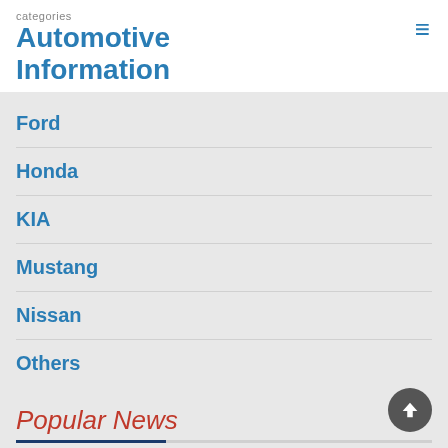Automotive Information
Ford
Honda
KIA
Mustang
Nissan
Others
Popular News
Reasonable 2016 Acura NSX Price for Some Benefits of Everyday Supercar
724 views